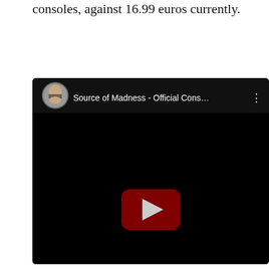consoles, against 16.99 euros currently.
[Figure (screenshot): Embedded YouTube video player showing 'Source of Madness - Official Cons...' with a dark background, avatar thumbnail of a person with glasses, and a dark red YouTube play button in the center.]